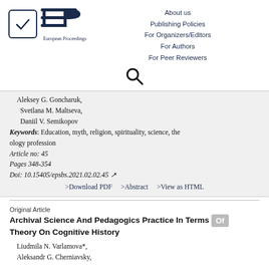[Figure (logo): European Proceedings logo with checkmark box and EP text lines]
About us
Publishing Policies
For Organizers/Editors
For Authors
For Peer Reviewers
[Figure (other): Search icon (magnifying glass)]
Aleksey G. Goncharuk,
Svetlana M. Maltseva,
Daniil V. Semikopov
Keywords: Education, myth, religion, spirituality, science, theology profession
Article no: 45
Pages 348-354
Doi: 10.15405/epsbs.2021.02.02.45
>Download PDF    >Abstract    >View as HTML
Original Article
Archival Science And Pedagogics Practice In Terms Of Theory On Cognitive History
Liudmila N. Varlamova*,
Aleksandr G. Cherniavsky,